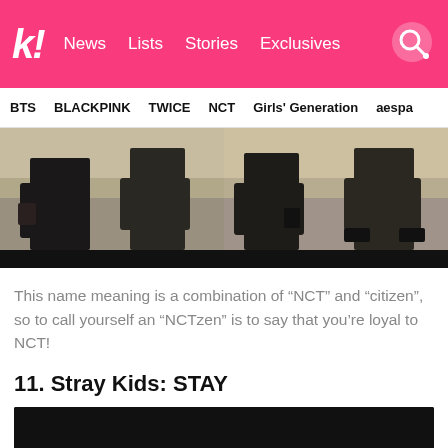k! News Lists Stories Exclusives
BTS  BLACKPINK  TWICE  NCT  Girls' Generation  aespa
[Figure (photo): Photo of people sitting outdoors, cropped showing lower bodies in dark clothing, split into two panels with black bar at bottom]
This name meaning is a combination of “NCT” and “citizen”, so to call yourself an “NCTzen” is to say that you’re loyal to NCT!
11. Stray Kids: STAY
[Figure (photo): Dark/black image, partially visible at bottom of page]